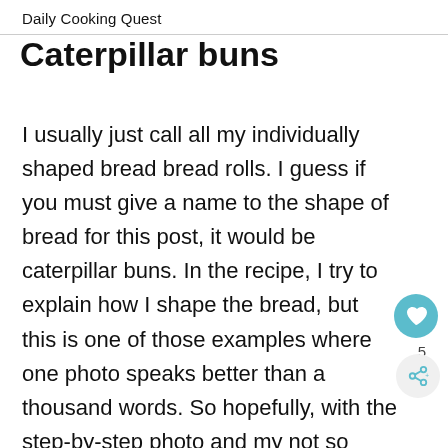Daily Cooking Quest
Caterpillar buns
I usually just call all my individually shaped bread bread rolls. I guess if you must give a name to the shape of bread for this post, it would be caterpillar buns. In the recipe, I try to explain how I shape the bread, but this is one of those examples where one photo speaks better than a thousand words. So hopefully, with the step-by-step photo and my not so great explanation in the recipe, you get how to properly shape this bread. If this particular caterpillar form is too much, feel free to shape your bread into any form you wish, even regular round